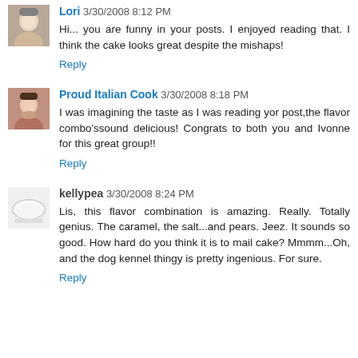Lori 3/30/2008 8:12 PM
Hi... you are funny in your posts. I enjoyed reading that. I think the cake looks great despite the mishaps!
Reply
Proud Italian Cook 3/30/2008 8:18 PM
I was imagining the taste as I was reading yor post,the flavor combo'ssound delicious! Congrats to both you and Ivonne for this great group!!
Reply
kellypea 3/30/2008 8:24 PM
Lis, this flavor combination is amazing. Really. Totally genius. The caramel, the salt...and pears. Jeez. It sounds so good. How hard do you think it is to mail cake? Mmmm...Oh, and the dog kennel thingy is pretty ingenious. For sure.
Reply